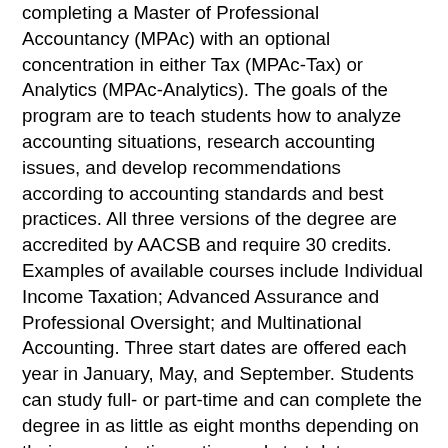completing a Master of Professional Accountancy (MPAc) with an optional concentration in either Tax (MPAc-Tax) or Analytics (MPAc-Analytics). The goals of the program are to teach students how to analyze accounting situations, research accounting issues, and develop recommendations according to accounting standards and best practices. All three versions of the degree are accredited by AACSB and require 30 credits. Examples of available courses include Individual Income Taxation; Advanced Assurance and Professional Oversight; and Multinational Accounting. Three start dates are offered each year in January, May, and September. Students can study full- or part-time and can complete the degree in as little as eight months depending on their concentration option and start date. Applicants must have completed prior coursework in accounting, including financial and managerial accounting; advanced financial accounting; taxation; accounting information systems; auditing; cost management; and two semesters of intermediate accounting. In addition, MPAc-Analytics applicants must have experience in statistics.